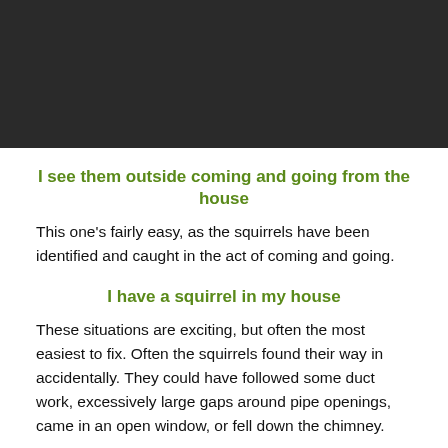[Figure (photo): Dark/black banner image at top of page]
I see them outside coming and going from the house
This one's fairly easy, as the squirrels have been identified and caught in the act of coming and going.
I have a squirrel in my house
These situations are exciting, but often the most easiest to fix. Often the squirrels found their way in accidentally. They could have followed some duct work, excessively large gaps around pipe openings, came in an open window, or fell down the chimney.